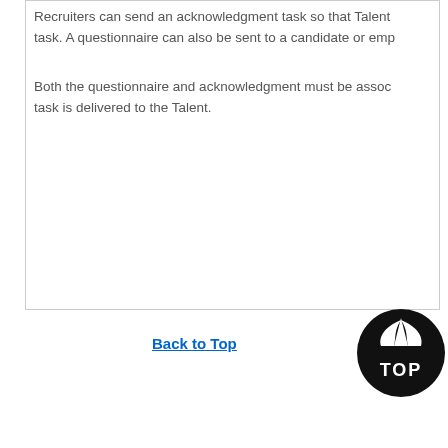Recruiters can send an acknowledgment task so that Talent... task. A questionnaire can also be sent to a candidate or emp...
Both the questionnaire and acknowledgment must be assoc... task is delivered to the Talent.
Back to Top
[Figure (logo): TOP logo — circular black emblem with a stylized flame/arrow icon on top and the letters TOP below]